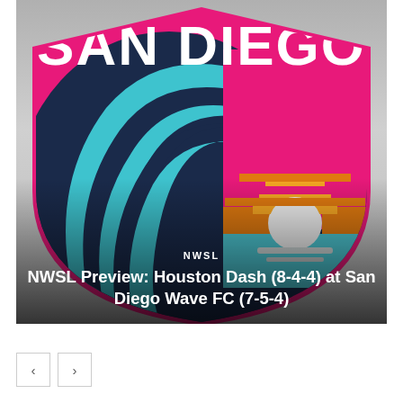[Figure (logo): San Diego Wave FC logo — shield shape with dark navy background, large teal wave curling left, pink/magenta upper section with white 'SAN DIEGO' text, sunset graphic (orange/yellow sun with horizontal stripes over teal water) on the right side, gradient gray lower edges.]
NWSL
NWSL Preview: Houston Dash (8-4-4) at San Diego Wave FC (7-5-4)